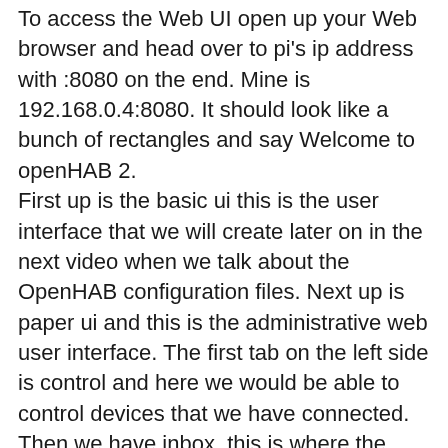To access the Web UI open up your Web browser and head over to pi's ip address with :8080 on the end. Mine is 192.168.0.4:8080. It should look like a bunch of rectangles and say Welcome to openHAB 2. First up is the basic ui this is the user interface that we will create later on in the next video when we talk about the OpenHAB configuration files. Next up is paper ui and this is the administrative web user interface. The first tab on the left side is control and here we would be able to control devices that we have connected. Then we have inbox, this is where the system would search for devices when you have bindings installed I will show you this more in the future when we add devices. After that is configuration which has sub tabs starting with